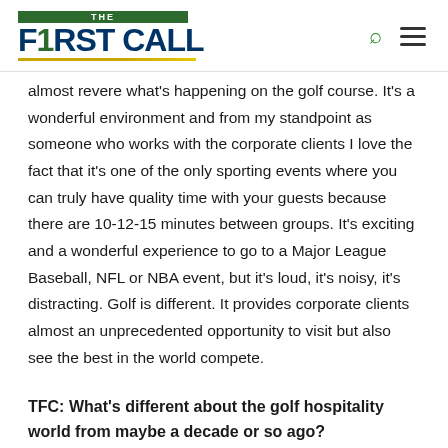THE F1RST CALL
almost revere what's happening on the golf course. It's a wonderful environment and from my standpoint as someone who works with the corporate clients I love the fact that it's one of the only sporting events where you can truly have quality time with your guests because there are 10-12-15 minutes between groups. It's exciting and a wonderful experience to go to a Major League Baseball, NFL or NBA event, but it's loud, it's noisy, it's distracting. Golf is different. It provides corporate clients almost an unprecedented opportunity to visit but also see the best in the world compete.
TFC: What's different about the golf hospitality world from maybe a decade or so ago?